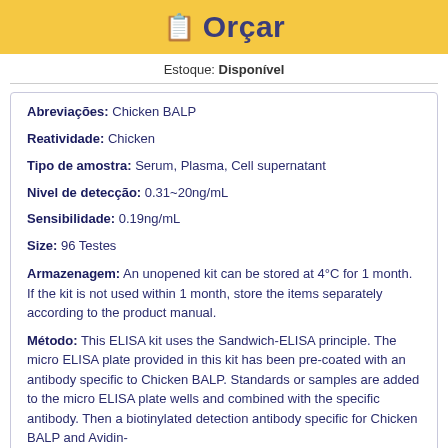Orçar
Estoque: Disponível
Abreviações: Chicken BALP
Reatividade: Chicken
Tipo de amostra: Serum, Plasma, Cell supernatant
Nivel de detecção: 0.31~20ng/mL
Sensibilidade: 0.19ng/mL
Size: 96 Testes
Armazenagem: An unopened kit can be stored at 4°C for 1 month. If the kit is not used within 1 month, store the items separately according to the product manual.
Método: This ELISA kit uses the Sandwich-ELISA principle. The micro ELISA plate provided in this kit has been pre-coated with an antibody specific to Chicken BALP. Standards or samples are added to the micro ELISA plate wells and combined with the specific antibody. Then a biotinylated detection antibody specific for Chicken BALP and Avidin-